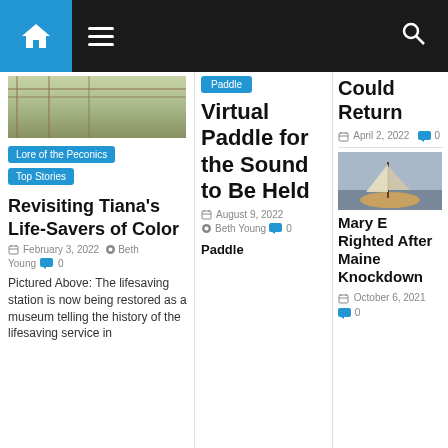Navigation bar with home icon, hamburger menu, and search icon
[Figure (photo): Landscape photo showing fence and grassy field]
Lore of the Peconics
Top Stories
Revisiting Tiana's Life-Savers of Color
February 3, 2022  Beth Young  0
Pictured Above: The lifesaving station is now being restored as a museum telling the history of the lifesaving service in
Paddle
Virtual Paddle for the Sound to Be Held
August 9, 2022  Beth Young  0
Paddle
Could Return
April 2, 2022  0
[Figure (photo): Sailboat on water]
Mary E Righted After Maine Knockdown
October 6, 2021  0